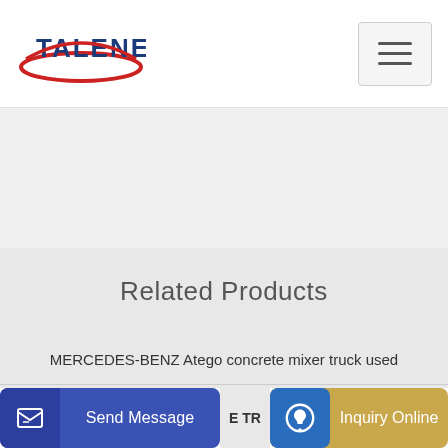TALENET
[Figure (photo): White/light grey background image area]
Related Products
MERCEDES-BENZ Atego concrete mixer truck used
Price Jim Concrete Pumping
Send Message | E TR | Inquiry Online